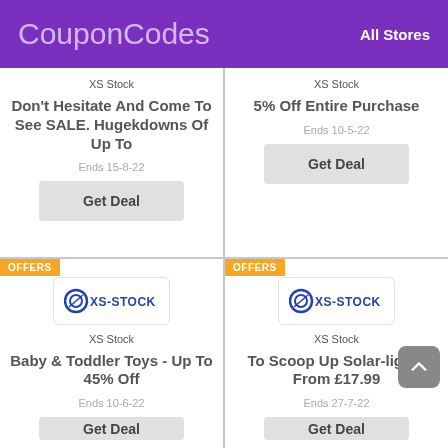CouponCodes   All Stores
XS Stock
Don't Hesitate And Come To See SALE. Hugekdowns Of Up To
Ends 15-8-22
Get Deal
XS Stock
5% Off Entire Purchase
Ends 10-5-22
Get Deal
OFFERS
[Figure (logo): XS-Stock logo in a white rounded box]
XS Stock
Baby & Toddler Toys - Up To 45% Off
Ends 10-6-22
Get Deal
OFFERS
[Figure (logo): XS-Stock logo in a white rounded box]
XS Stock
To Scoop Up Solar-lights From £17.99
Ends 27-7-22
Get Deal